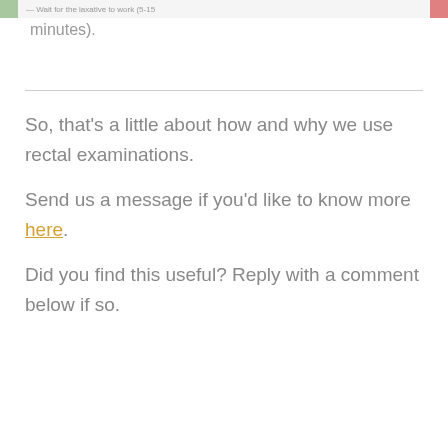Wait for the laxative to work (5-15 minutes).
So, that's a little about how and why we use rectal examinations.
Send us a message if you'd like to know more here.
Did you find this useful? Reply with a comment below if so.